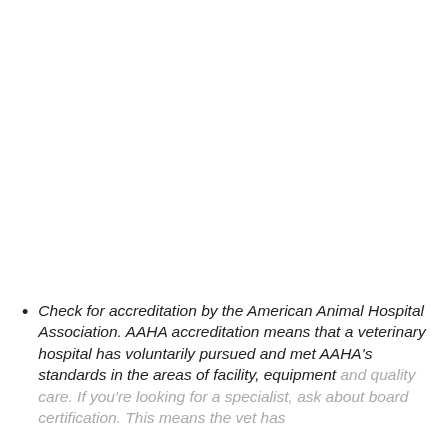Check for accreditation by the American Animal Hospital Association. AAHA accreditation means that a veterinary hospital has voluntarily pursued and met AAHA's standards in the areas of facility, equipment and quality care. If you're looking for a specialist, ask about board certification. This means the vet has